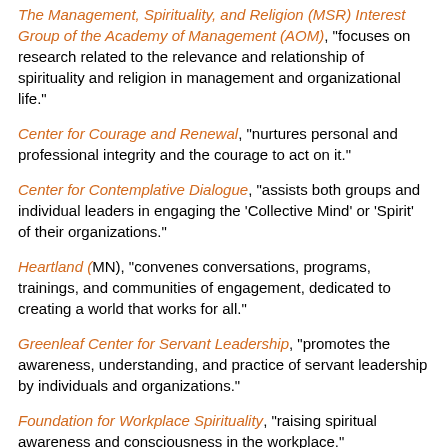The Management, Spirituality, and Religion (MSR) Interest Group of the Academy of Management (AOM), "focuses on research related to the relevance and relationship of spirituality and religion in management and organizational life."
Center for Courage and Renewal, "nurtures personal and professional integrity and the courage to act on it."
Center for Contemplative Dialogue, "assists both groups and individual leaders in engaging the 'Collective Mind' or 'Spirit' of their organizations."
Heartland (MN), "convenes conversations, programs, trainings, and communities of engagement, dedicated to creating a world that works for all."
Greenleaf Center for Servant Leadership, "promotes the awareness, understanding, and practice of servant leadership by individuals and organizations."
Foundation for Workplace Spirituality, "raising spiritual awareness and consciousness in the workplace."